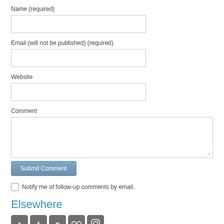Name (required)
[Figure (screenshot): Text input field for Name]
Email (will not be published) (required)
[Figure (screenshot): Text input field for Email]
Website
[Figure (screenshot): Text input field for Website]
Comment
[Figure (screenshot): Textarea for Comment]
[Figure (screenshot): Submit Comment button]
Notify me of follow-up comments by email.
Elsewhere
[Figure (infographic): Row of 5 social media icons: r, Twitter, Pinterest, Flickr, Instagram]